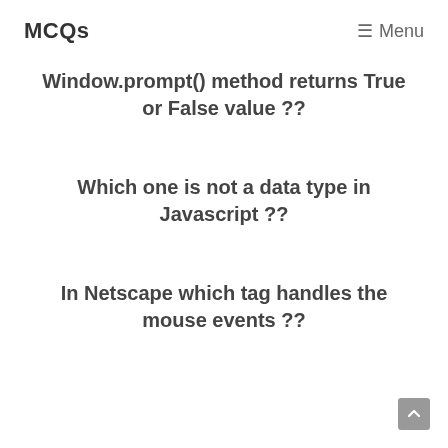MCQs  ☰ Menu
Window.prompt() method returns True or False value ??
Which one is not a data type in Javascript ??
In Netscape which tag handles the mouse events ??